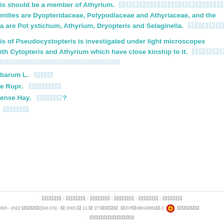...is should be a member of Athyrium. [Chinese text]
...milies are Dyopteridaceae, Polypodiaceae and Athyriaceae, and the
...a are Pot ystichum, Athyrium, Dryopteris and Selaginella. [Chinese text]
...is of Pseudocystopteris is investigated under light microscopes
...ith Cytopteris and Athyrium which have close kinship to it. [Chinese text]
[Chinese text]
...barum L. [Chinese]
...e Rupr. [Chinese]
...ense Hay. [Chinese]?
[Chinese]
Dict.CN footer navigation and copyright 2003-2022